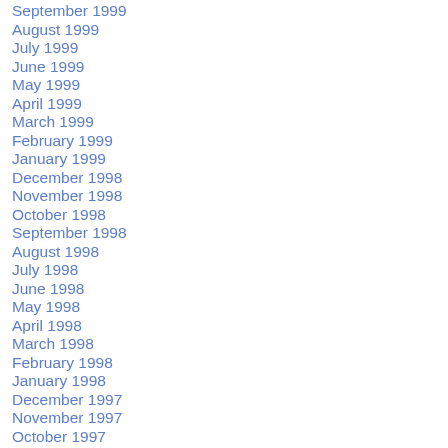September 1999
August 1999
July 1999
June 1999
May 1999
April 1999
March 1999
February 1999
January 1999
December 1998
November 1998
October 1998
September 1998
August 1998
July 1998
June 1998
May 1998
April 1998
March 1998
February 1998
January 1998
December 1997
November 1997
October 1997
September 1997
August 1997
July 1997
June 1997
May 1997
April 1997